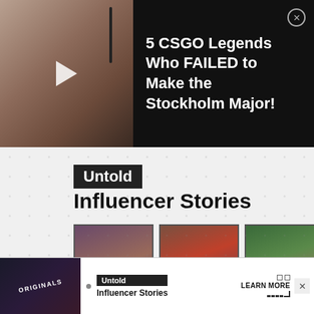[Figure (screenshot): Video thumbnail showing a person with a headset, dark background with play button overlay]
5 CSGO Legends Who FAILED to Make the Stockholm Major!
[Figure (illustration): Advertisement section with Untold badge, Influencer Stories title, and a 3x2 grid of influencer photo thumbnails with LEARN MORE button]
Untold Influencer Stories
[Figure (screenshot): Bottom mini advertisement bar with Originals logo, Untold Influencer Stories text, and LEARN MORE button]